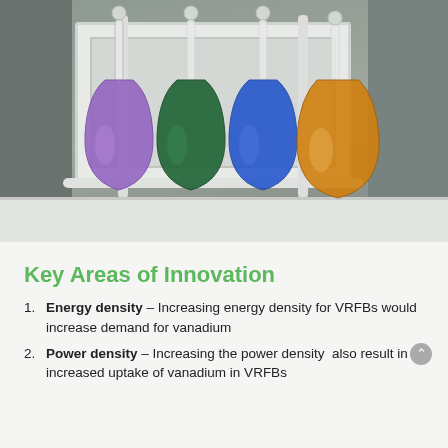[Figure (photo): Four laboratory volumetric flasks with glass stoppers sitting on a white lab bench/shelf. The flasks contain colored liquids: purple/violet, dark green, blue, and amber/orange, representing different vanadium oxidation states. Background shows grey-green laboratory cabinets and white equipment.]
Key Areas of Innovation
Energy density – Increasing energy density for VRFBs would increase demand for vanadium
Power density – Increasing the power density also result in increased uptake of vanadium in VRFBs